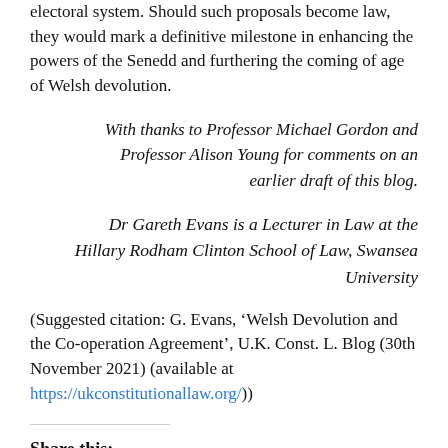electoral system. Should such proposals become law, they would mark a definitive milestone in enhancing the powers of the Senedd and furthering the coming of age of Welsh devolution.
With thanks to Professor Michael Gordon and Professor Alison Young for comments on an earlier draft of this blog.
Dr Gareth Evans is a Lecturer in Law at the Hillary Rodham Clinton School of Law, Swansea University
(Suggested citation: G. Evans, ‘Welsh Devolution and the Co-operation Agreement’, U.K. Const. L. Blog (30th November 2021) (available at https://ukconstitutionallaw.org/))
Share this: